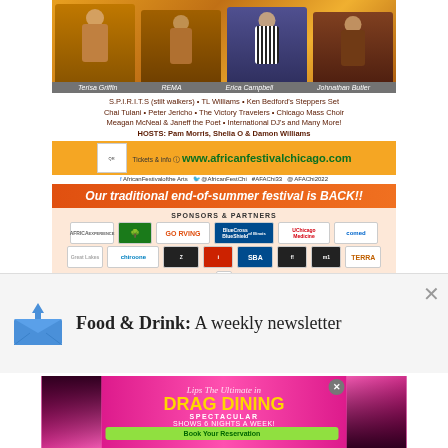[Figure (photo): African Festival of the Arts promotional flyer showing performers Terisa Griffin, REMA, Erica Campbell, and Johnathan Butler with orange background]
S.P.I.R.I.T.S (stilt walkers) • TL Williams • Ken Bedford's Steppers Set Chai Tulani • Peter Jericho • The Victory Travelers • Chicago Mass Choir Meagan McNeal & Janeff the Poet • International DJ's and Many More! HOSTS: Pam Morris, Shelia O & Damon Williams
Tickets & info @ www.africanfestivalchicago.com
AfricanFestivalofthe Arts @AfricanFestChi #AFAChi33 #AFAChi2022
Our traditional end-of-summer festival is BACK!!
SPONSORS & PARTNERS
[Figure (logo): Multiple sponsor and partner logos including GO RVING, BlueCross BlueShield of Illinois, UChicago Medicine, comed, SBA, CBS 2, Citizen, WGN, Chicago Defender, Crusader and others]
[Figure (infographic): Newsletter signup popup with envelope icon showing Food & Drink: A weekly newsletter]
Food & Drink: A weekly newsletter
[Figure (photo): Lips restaurant drag dining advertisement: The Ultimate in DRAG DINING - Spectacular shows 6 nights a week! Book Your Reservation]